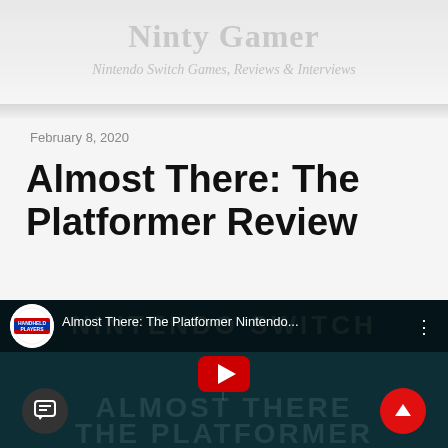Ninty Gamer
Nintendo Switch Games, Reviews & Interviews
February 8, 2020
Almost There: The Platformer Review
[Figure (screenshot): Embedded YouTube video player showing 'Almost There: The Platformer Nintendo...' with Handheld Players channel logo, dark teal background with game title text overlay 'ALMOST THERE THE PLATFORMER', YouTube play button in center, chat button bottom-left, scroll-to-top button bottom-right.]